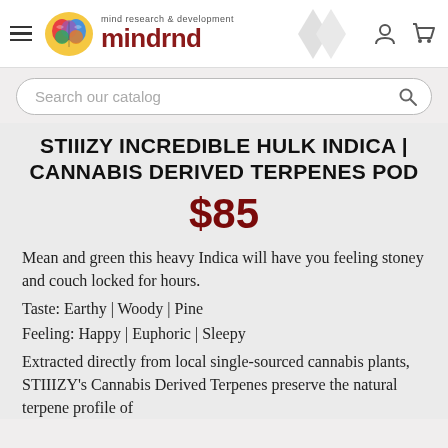mind research & development mindrnd
STIIIZY INCREDIBLE HULK INDICA | CANNABIS DERIVED TERPENES POD
$85
Mean and green this heavy Indica will have you feeling stoney and couch locked for hours.
Taste: Earthy | Woody | Pine
Feeling: Happy | Euphoric | Sleepy
Extracted directly from local single-sourced cannabis plants, STIIIZY's Cannabis Derived Terpenes preserve the natural terpene profile of